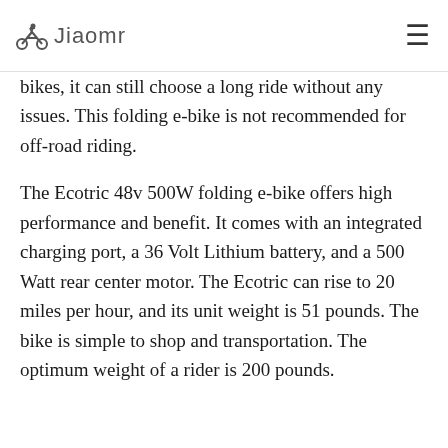Jiaomr
bikes, it can still choose a long ride without any issues. This folding e-bike is not recommended for off-road riding.
The Ecotric 48v 500W folding e-bike offers high performance and benefit. It comes with an integrated charging port, a 36 Volt Lithium battery, and a 500 Watt rear center motor. The Ecotric can rise to 20 miles per hour, and its unit weight is 51 pounds. The bike is simple to shop and transportation. The optimum weight of a rider is 200 pounds.